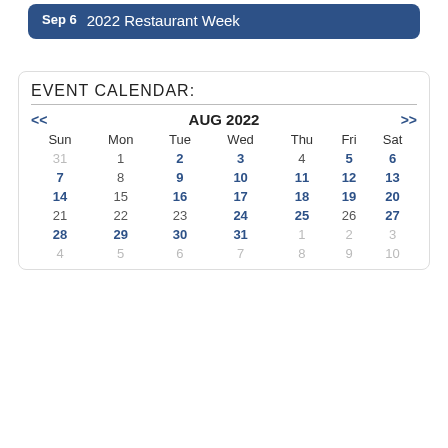Sep 6   2022 Restaurant Week
EVENT CALENDAR:
| Sun | Mon | Tue | Wed | Thu | Fri | Sat |
| --- | --- | --- | --- | --- | --- | --- |
| 31 | 1 | 2 | 3 | 4 | 5 | 6 |
| 7 | 8 | 9 | 10 | 11 | 12 | 13 |
| 14 | 15 | 16 | 17 | 18 | 19 | 20 |
| 21 | 22 | 23 | 24 | 25 | 26 | 27 |
| 28 | 29 | 30 | 31 | 1 | 2 | 3 |
| 4 | 5 | 6 | 7 | 8 | 9 | 10 |